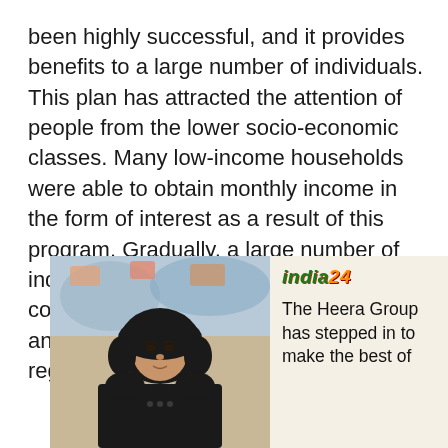been highly successful, and it provides benefits to a large number of individuals. This plan has attracted the attention of people from the lower socio-economic classes. Many low-income households were able to obtain monthly income in the form of interest as a result of this program. Gradually, a large number of individuals from various social levels and communities are part of the program, and many are quite happy with the regular source of money.
[Figure (photo): A woman wearing a black hijab and black clothing, photographed against a colorful background. Next to the photo is an 'india24' logo and text reading 'The Heera Group has stepped in to make the best of']